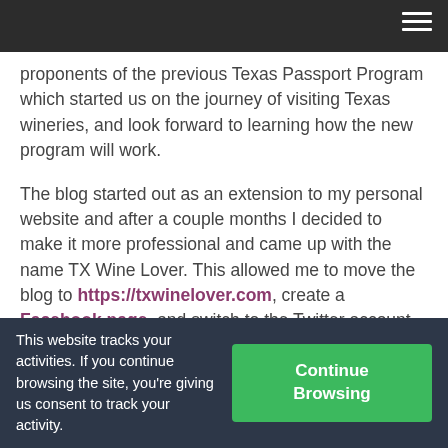proponents of the previous Texas Passport Program which started us on the journey of visiting Texas wineries, and look forward to learning how the new program will work.

The blog started out as an extension to my personal website and after a couple months I decided to make it more professional and came up with the name TX Wine Lover. This allowed me to move the blog to https://txwinelover.com, create a Facebook page, and switch to the Twitter account of @TXWineLover.
This website tracks your activities. If you continue browsing the site, you're giving us consent to track your activity.
Continue Browsing